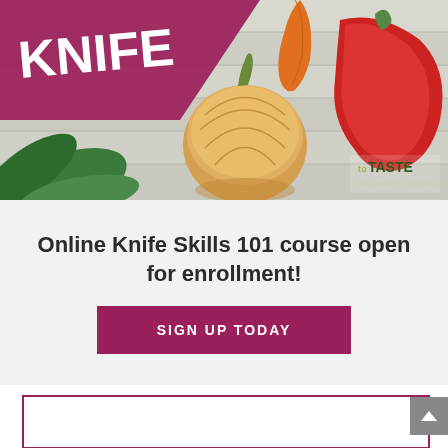[Figure (photo): Cooking/food photo showing vegetables including an onion, red pepper, and greens on a white wooden surface, with a magenta/maroon banner overlay reading 'KNIFE' in white bold letters, and a 'To Taste' logo in the bottom right corner.]
Online Knife Skills 101 course open for enrollment!
SIGN UP TODAY
[Figure (other): Empty white box with magenta/maroon border at the bottom of the page, partially visible.]